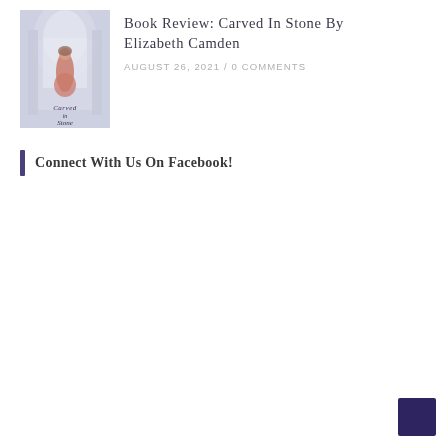[Figure (illustration): Book cover of 'Carved in Stone' showing a woman in period dress standing in an ornate architectural setting with arched windows, soft purple-gray tones]
Book Review: Carved in Stone by Elizabeth Camden
August 26, 2021 / 0 Comments
Connect With Us On Facebook!